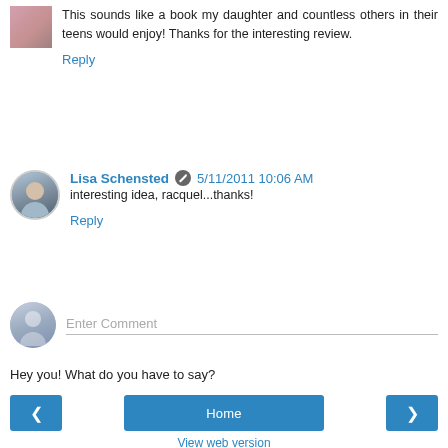[Figure (photo): Small square avatar thumbnail with pink floral image]
This sounds like a book my daughter and countless others in their teens would enjoy! Thanks for the interesting review.
Reply
[Figure (photo): Round avatar of Lisa Schensted]
Lisa Schensted  5/11/2011 10:06 AM
interesting idea, racquel...thanks!
Reply
[Figure (photo): Anonymous user avatar circle]
Enter Comment
Hey you! What do you have to say?
< Home >
View web version